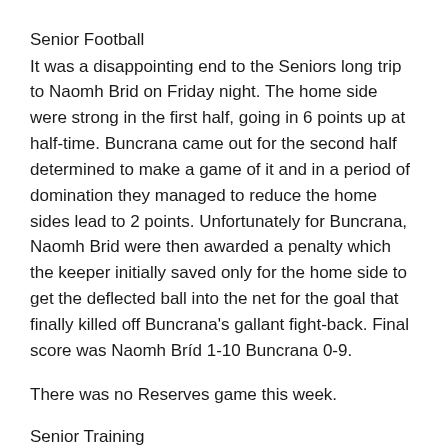Senior Football
It was a disappointing end to the Seniors long trip to Naomh Brid on Friday night. The home side were strong in the first half, going in 6 points up at half-time. Buncrana came out for the second half determined to make a game of it and in a period of domination they managed to reduce the home sides lead to 2 points. Unfortunately for Buncrana, Naomh Brid were then awarded a penalty which the keeper initially saved only for the home side to get the deflected ball into the net for the goal that finally killed off Buncrana's gallant fight-back. Final score was Naomh Bríd 1-10 Buncrana 0-9.
There was no Reserves game this week.
Senior Training
Seniors & Minors Hurling training is on